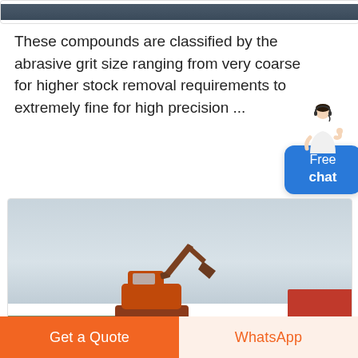[Figure (photo): Top partial image showing dark/blurred construction or industrial scene, cropped at top of page]
These compounds are classified by the abrasive grit size ranging from very coarse for higher stock removal requirements to extremely fine for high precision ...
[Figure (illustration): Chat widget with a female customer service representative figure above a blue rounded rectangle button labeled 'Free chat']
[Figure (photo): Photo of an orange/red excavator construction machine against a light grey sky with some green trees and a red structure in the background]
[Figure (other): Bottom action bar with two buttons: 'Get a Quote' (orange) and 'WhatsApp' (light orange/peach background with orange text)]